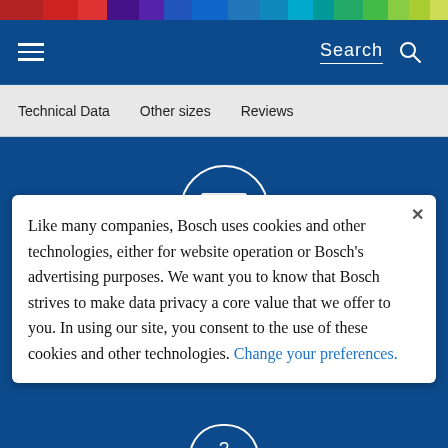[Figure (other): Colorful horizontal stripe bar at top of page with multiple color segments]
Search
Technical Data
Other sizes
Reviews
[Figure (illustration): Circular email/envelope icon on dark blue background]
Contact Us
Like many companies, Bosch uses cookies and other technologies, either for website operation or Bosch's advertising purposes. We want you to know that Bosch strives to make data privacy a core value that we offer to you. In using our site, you consent to the use of these cookies and other technologies. Change your preferences.